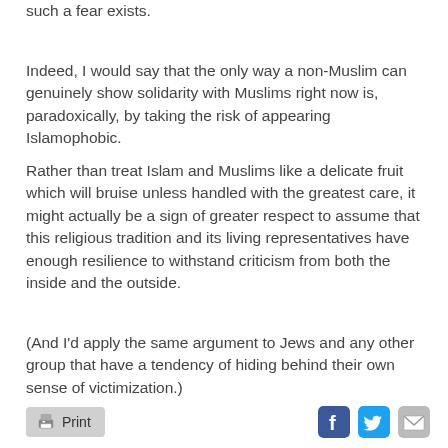such a fear exists.
Indeed, I would say that the only way a non-Muslim can genuinely show solidarity with Muslims right now is, paradoxically, by taking the risk of appearing Islamophobic.
Rather than treat Islam and Muslims like a delicate fruit which will bruise unless handled with the greatest care, it might actually be a sign of greater respect to assume that this religious tradition and its living representatives have enough resilience to withstand criticism from both the inside and the outside.
(And I'd apply the same argument to Jews and any other group that have a tendency of hiding behind their own sense of victimization.)
[Figure (other): Print button with printer icon, Facebook icon, Twitter icon, and mail/email icon in the page footer]